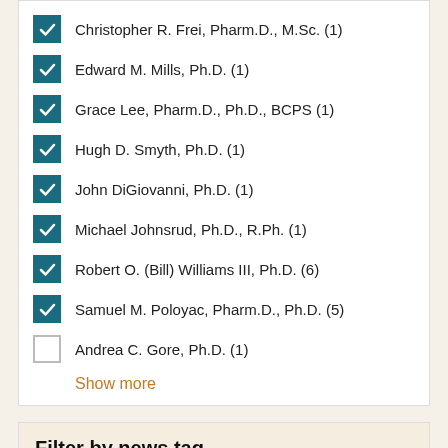Christopher R. Frei, Pharm.D., M.Sc. (1)
Edward M. Mills, Ph.D. (1)
Grace Lee, Pharm.D., Ph.D., BCPS (1)
Hugh D. Smyth, Ph.D. (1)
John DiGiovanni, Ph.D. (1)
Michael Johnsrud, Ph.D., R.Ph. (1)
Robert O. (Bill) Williams III, Ph.D. (6)
Samuel M. Poloyac, Pharm.D., Ph.D. (5)
Andrea C. Gore, Ph.D. (1)
Show more
Filter by news tag
Molecular Pharmaceutics and Drug Delivery (4)